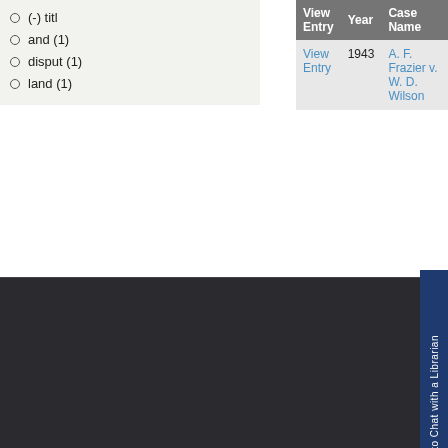(-) titl
and (1)
disput (1)
land (1)
| View Entry | Year | Case Name |
| --- | --- | --- |
| View Entry | 1943 | A. F. Frazier v. W. D. Wilson |
Filter by court origin:
(-) circuit
(-) civil
Click Here to Chat with a Librarian